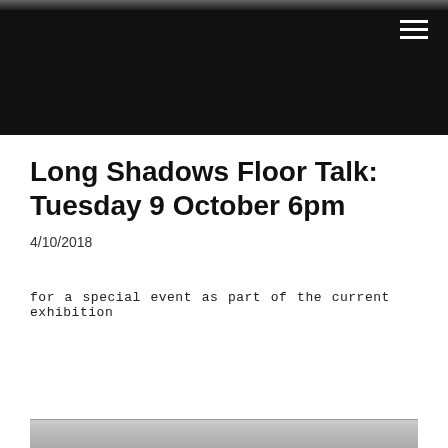[Figure (photo): Dark header image with a faint photo strip at the top and a hamburger menu icon in the top right corner on a black background.]
Long Shadows Floor Talk: Tuesday 9 October 6pm
4/10/2018
for a special event as part of the current exhibition
[Figure (photo): Bottom edge of a photograph, showing a grayish surface, partially visible at the bottom of the page.]